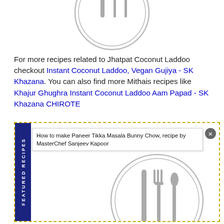[Figure (illustration): Circular plate icon with knife, fork and spoon silhouettes in gray, partially visible at top of page]
For more recipes related to Jhatpat Coconut Laddoo checkout Instant Coconut Laddoo, Vegan Gujiya - SK Khazana. You can also find more Mithais recipes like Khajur Ghughra Instant Coconut Laddoo Aam Papad - SK Khazana CHIROTE
[Figure (screenshot): Featured Recipes box with blue vertical sidebar label, tooltip showing 'How to make Paneer Tikka Masala Bunny Chow, recipe by MasterChef Sanjeev Kapoor', close button, and plate icon with cutlery]